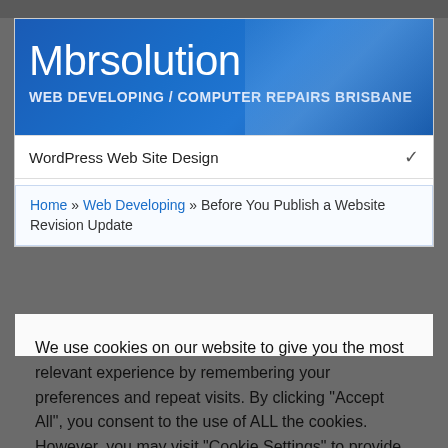Mbrsolution
WEB DEVELOPING / COMPUTER REPAIRS BRISBANE
WordPress Web Site Design
Home » Web Developing » Before You Publish a Website Revision Update
We use cookies on our website to give you the most relevant experience by remembering your preferences and repeat visits. By clicking “Accept All”, you consent to the use of ALL the cookies. However, you may visit "Cookie Settings" to provide a controlled consent.
Cookie Settings
Accept All